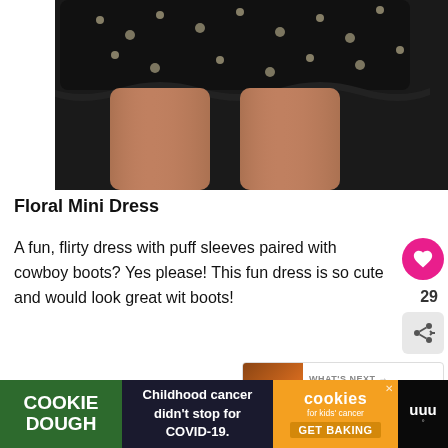[Figure (photo): Product photo of a black floral mini dress worn by a model, showing the skirt hem and legs against a white background]
Floral Mini Dress
A fun, flirty dress with puff sleeves paired with cowboy boots? Yes please! This fun dress is so cute and would look great wit boots!
Shop Now
[Figure (screenshot): What's Next widget showing: How to Wear Chelsea Boo...]
[Figure (other): Cookie Dough / cookies for kids' cancer advertisement banner: Childhood cancer didn't stop for COVID-19. GET BAKING]